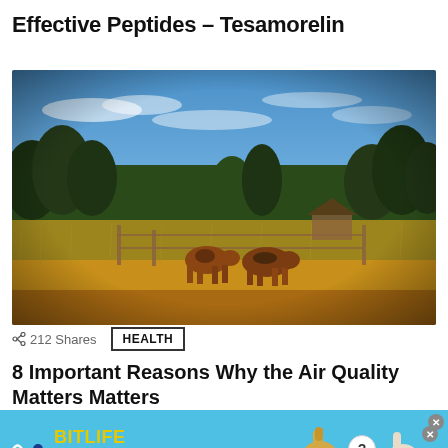Effective Peptides – Tesamorelin
[Figure (photo): Outdoor farm scene with cattle grazing on dry golden grass, green trees and shrubs in background, blue sky with white clouds]
< 212 Shares   HEALTH
8 Important Reasons Why the Air Quality Matters Matters
[Figure (other): BitLife advertisement banner with blue background, BitLife logo in yellow, 'NOW WITH GOD MODE' text, thumbs up and pointing hand graphics, close button]